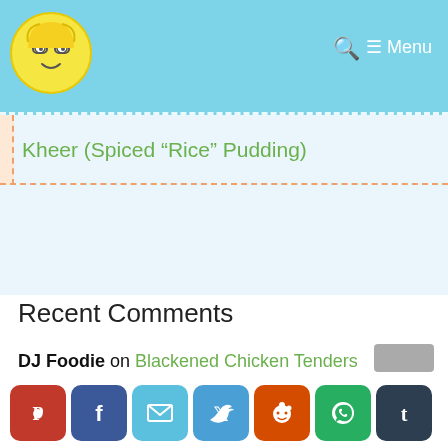DJ Foodie blog header with logo, search and menu
Kheer (Spiced “Rice” Pudding)
Recent Comments
DJ Foodie on Blackened Chicken Tenders
Vincent Johnstone on Blackened Chicken Tenders
Toasted Clarified Butter (Ghee) | DJ Foodie on Caramelized and Spiced Apple Topped Pancakes
[Figure (infographic): Social sharing icons row: Pinterest, Facebook, Email, Twitter, Reddit, WhatsApp, Tumblr]